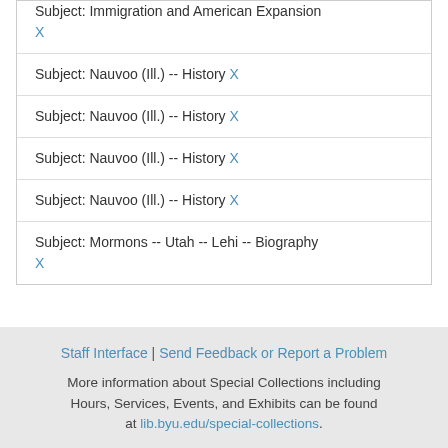Subject: Immigration and American Expansion X
Subject: Nauvoo (Ill.) -- History X
Subject: Nauvoo (Ill.) -- History X
Subject: Nauvoo (Ill.) -- History X
Subject: Nauvoo (Ill.) -- History X
Subject: Mormons -- Utah -- Lehi -- Biography X
Staff Interface | Send Feedback or Report a Problem
More information about Special Collections including Hours, Services, Events, and Exhibits can be found at lib.byu.edu/special-collections.